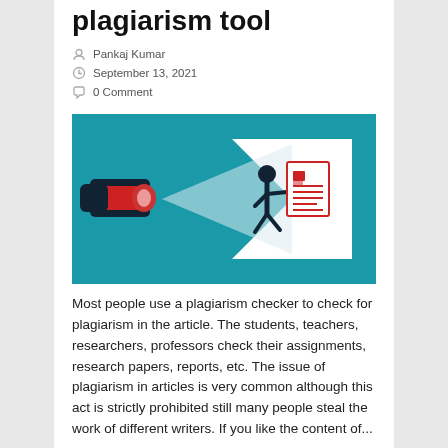plagiarism tool
Pankaj Kumar
September 13, 2021
0 Comment
[Figure (illustration): Illustration showing a hand holding a red flashlight/torch shining a beam of light onto a running figure holding a document with red lines on a teal/blue background with a white arrow shape.]
Most people use a plagiarism checker to check for plagiarism in the article. The students, teachers, researchers, professors check their assignments, research papers, reports, etc. The issue of plagiarism in articles is very common although this act is strictly prohibited still many people steal the work of different writers. If you like the content of...